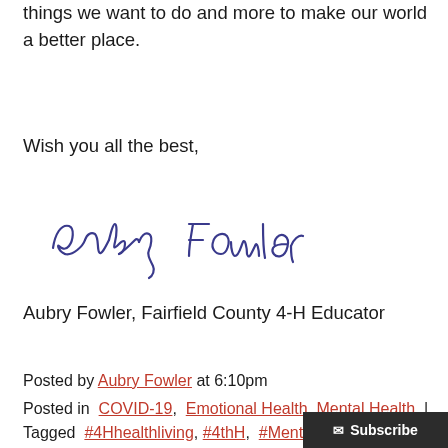things we want to do and more to make our world a better place.
Wish you all the best,
[Figure (illustration): Handwritten cursive signature reading 'Aubry Fowler' in blue ink]
Aubry Fowler, Fairfield County 4-H Educator
Posted by Aubry Fowler at 6:10pm
Posted in  COVID-19,  Emotional Health,  Mental Health  |  Tagged  #4Hhealthliving,  #4thH,  #MentalHealthMatters,  #Ohio4Hmhm  |  Leave a com...